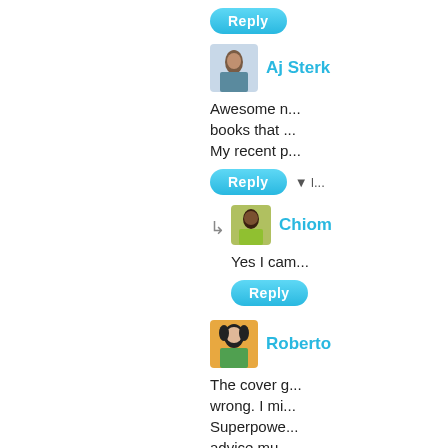[Figure (screenshot): Social media comment section showing user comments with reply buttons and avatars. Partially cropped — only right portion visible.]
Reply
Aj Sterk
Awesome r... books that ... My recent p...
Reply
Chiom
Yes I cam...
Reply
Roberto
The cover g... wrong. I mi... Superpowe... advice mu...